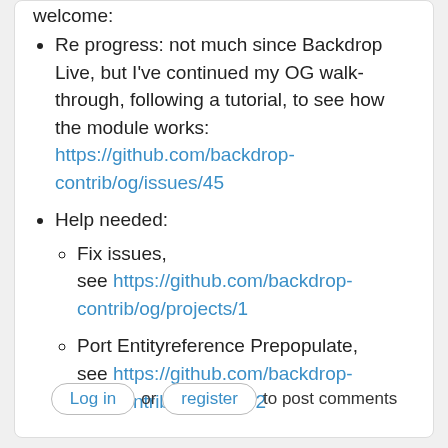welcome:
Re progress: not much since Backdrop Live, but I've continued my OG walk-through, following a tutorial, to see how the module works: https://github.com/backdrop-contrib/og/issues/45
Help needed:
Fix issues, see https://github.com/backdrop-contrib/og/projects/1
Port Entityreference Prepopulate, see https://github.com/backdrop-ops/contrib/issues/632
Log in or register to post comments